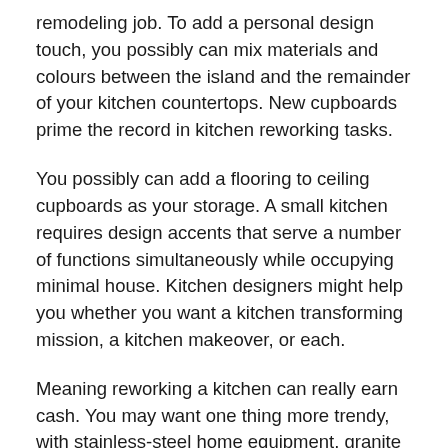remodeling job. To add a personal design touch, you possibly can mix materials and colours between the island and the remainder of your kitchen countertops. New cupboards prime the record in kitchen reworking tasks.
You possibly can add a flooring to ceiling cupboards as your storage. A small kitchen requires design accents that serve a number of functions simultaneously while occupying minimal house. Kitchen designers might help you whether you want a kitchen transforming mission, a kitchen makeover, or each.
Meaning reworking a kitchen can really earn cash. You may want one thing more trendy, with stainless-steel home equipment, granite counters, and an under …